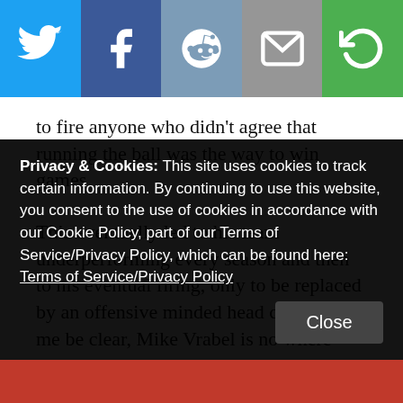[Figure (other): Social sharing bar with Twitter, Facebook, Reddit, Email, and Share buttons]
to fire anyone who didn't agree that running the ball was the way to win games.
This eventually led to his team underperforming every season and then to his eventual firing, only to be replaced by an offensive minded head coach. Let me be clear, Mike Vrabel is no where near the hot seat. His butt is sub zero cold.
What I am saying is, that not shifting your offensive philosophy from a run heavy, safe approach, could keep
Privacy & Cookies: This site uses cookies to track certain information. By continuing to use this website, you consent to the use of cookies in accordance with our Cookie Policy, part of our Terms of Service/Privacy Policy, which can be found here: Terms of Service/Privacy Policy
Close